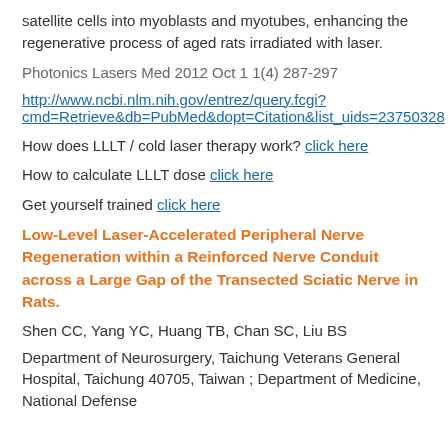satellite cells into myoblasts and myotubes, enhancing the regenerative process of aged rats irradiated with laser.
Photonics Lasers Med 2012 Oct 1 1(4) 287-297
http://www.ncbi.nlm.nih.gov/entrez/query.fcgi?cmd=Retrieve&db=PubMed&dopt=Citation&list_uids=23750328
How does LLLT / cold laser therapy work? click here
How to calculate LLLT dose click here
Get yourself trained click here
Low-Level Laser-Accelerated Peripheral Nerve Regeneration within a Reinforced Nerve Conduit across a Large Gap of the Transected Sciatic Nerve in Rats.
Shen CC, Yang YC, Huang TB, Chan SC, Liu BS
Department of Neurosurgery, Taichung Veterans General Hospital, Taichung 40705, Taiwan ; Department of Medicine, National Defense